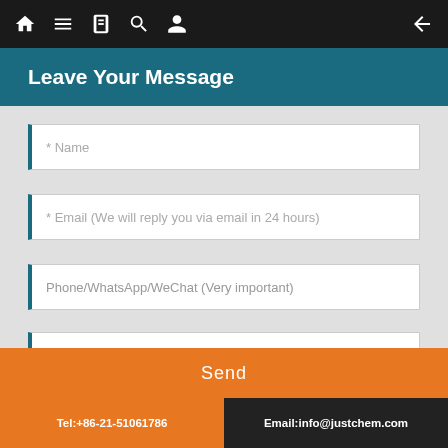Leave Your Message
* Name
* Email (We will reply you via email in 24 hours)
Phone/WhatsApp/WeChat (Very important)
* Enter product details such as size, color, materials etc. and other specific requirements to receive an accurate quote.
Send
Tel:+86-21-51061786  Email:info@justchem.com